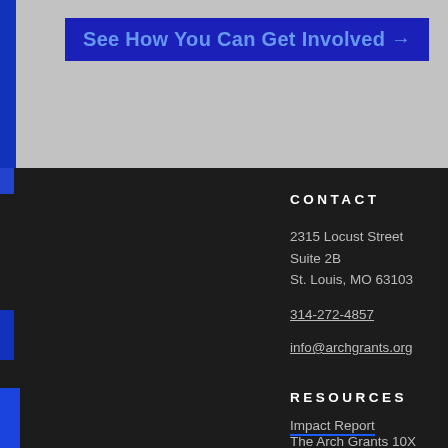See How You Can Get Involved →
CONTACT
2315 Locust Street
Suite 2B
St. Louis, MO 63103
314-272-4857
info@archgrants.org
RESOURCES
Impact Report
The Arch Grants 10X Event
IRS Form 990 – 2020